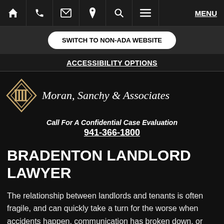Navigation bar with home, phone, email, location, search, menu icons and MENU text
SWITCH TO NON-ADA WEBSITE
ACCESSIBILITY OPTIONS
[Figure (logo): Diamond-shaped logo with columns inside, gold/tan color, next to firm name 'Moran, Sanchy & Associates' in white italic serif font]
Call For A Confidential Case Evaluation
941-366-1800
BRADENTON LANDLORD LAWYER
The relationship between landlords and tenants is often fragile, and can quickly take a turn for the worse when accidents happen, communication has broken down, or